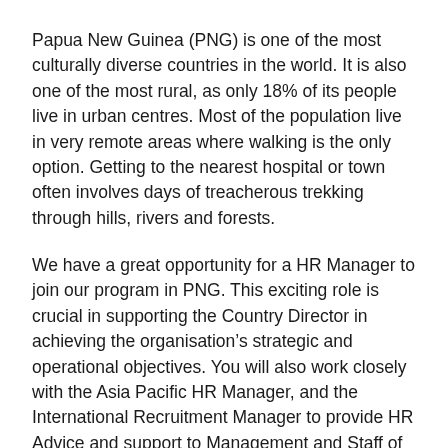Papua New Guinea (PNG) is one of the most culturally diverse countries in the world. It is also one of the most rural, as only 18% of its people live in urban centres. Most of the population live in very remote areas where walking is the only option. Getting to the nearest hospital or town often involves days of treacherous trekking through hills, rivers and forests.
We have a great opportunity for a HR Manager to join our program in PNG. This exciting role is crucial in supporting the Country Director in achieving the organisation’s strategic and operational objectives. You will also work closely with the Asia Pacific HR Manager, and the International Recruitment Manager to provide HR Advice and support to Management and Staff of MAF PNG.